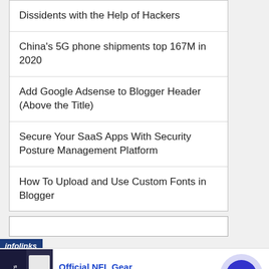Dissidents with the Help of Hackers
China's 5G phone shipments top 167M in 2020
Add Google Adsense to Blogger Header (Above the Title)
Secure Your SaaS Apps With Security Posture Management Platform
How To Upload and Use Custom Fonts in Blogger
[Figure (screenshot): Infolinks advertisement banner with search box and NFL Gear ad]